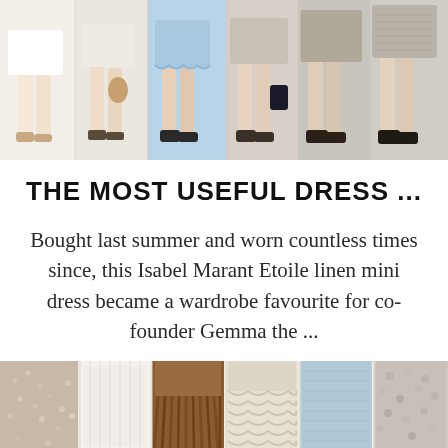[Figure (photo): Fashion photo showing lower halves of multiple women wearing various summer dresses and skirts in white, cream, blue, and grey tones with summer sandals and shoes]
THE MOST USEFUL DRESS ...
Bought last summer and worn countless times since, this Isabel Marant Etoile linen mini dress became a wardrobe favourite for co-founder Gemma the ...
[Figure (photo): Bottom strip showing multiple fashion product images of skirts and dresses in various textures including sequin, white, brown fringe, beige, light blue, and patterned styles]